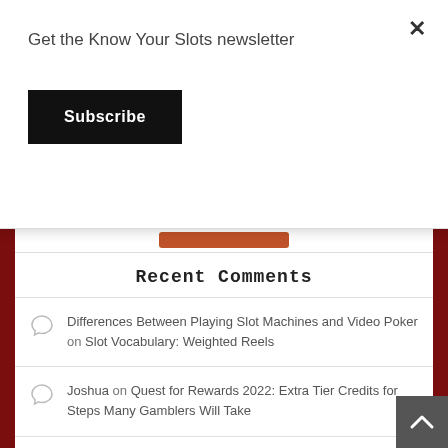Get the Know Your Slots newsletter
Subscribe
Recent Comments
Differences Between Playing Slot Machines and Video Poker on Slot Vocabulary: Weighted Reels
Joshua on Quest for Rewards 2022: Extra Tier Credits for Steps Many Gamblers Will Take
calwatch on Quest for Rewards 2022: Extra Tier Credits for Steps Many Gamblers Will Take